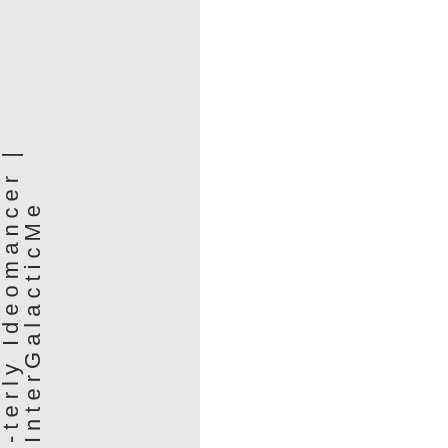-terly Ideomancer | InterGalacticMe